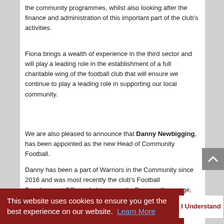the community programmes, whilst also looking after the finance and administration of this important part of the club's activities.
Fiona brings a wealth of experience in the third sector and will play a leading role in the establishment of a full charitable wing of the football club that will ensure we continue to play a leading role in supporting our local community.
We are also pleased to announce that Danny Newbigging, has been appointed as the new Head of Community Football.
Danny has been a part of Warriors in the Community since 2016 and was most recently the club's Football Development Officer. In his new role, Danny will manage, coordinate and oversee all football programmes within Warriors in the Community whilst also leading on our various initiatives with schools and supporting partners.
Bailey Hanlon joins the team and will take
This website uses cookies to ensure you get the best experience on our website. Learn More